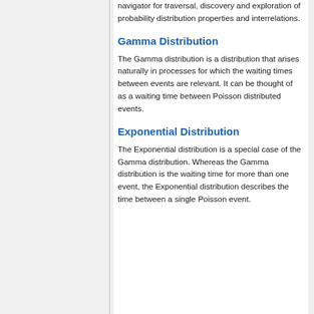navigator for traversal, discovery and exploration of probability distribution properties and interrelations.
Gamma Distribution
The Gamma distribution is a distribution that arises naturally in processes for which the waiting times between events are relevant. It can be thought of as a waiting time between Poisson distributed events.
Exponential Distribution
The Exponential distribution is a special case of the Gamma distribution. Whereas the Gamma distribution is the waiting time for more than one event, the Exponential distribution describes the time between a single Poisson event.